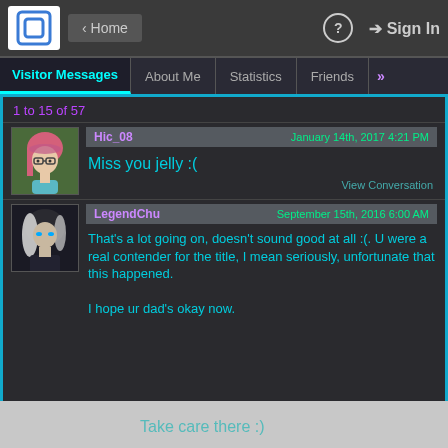Home | Sign In | Help
Visitor Messages | About Me | Statistics | Friends | »
1 to 15 of 57
Hic_08  January 14th, 2017 4:21 PM
Miss you jelly :(
View Conversation
LegendChu  September 15th, 2016 6:00 AM
That's a lot going on, doesn't sound good at all :(. U were a real contender for the title, I mean seriously, unfortunate that this happened.

I hope ur dad's okay now.

Take care there :)